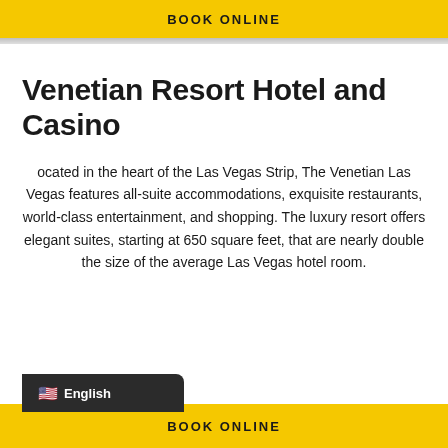BOOK ONLINE
Venetian Resort Hotel and Casino
ocated in the heart of the Las Vegas Strip, The Venetian Las Vegas features all-suite accommodations, exquisite restaurants, world-class entertainment, and shopping. The luxury resort offers elegant suites, starting at 650 square feet, that are nearly double the size of the average Las Vegas hotel room.
BOOK ONLINE